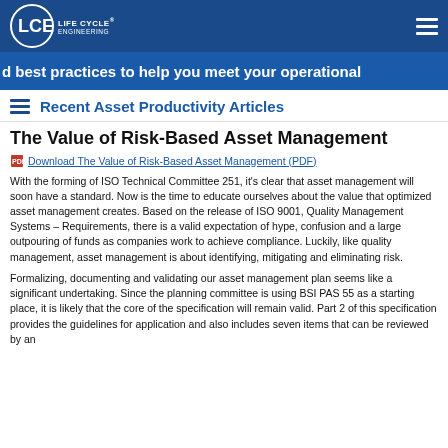LCE LIFE CYCLE ENGINEERING
[Figure (other): Blue banner with white bold text reading 'd best practices to help you meet your operational']
Recent Asset Productivity Articles
The Value of Risk-Based Asset Management
Download The Value of Risk-Based Asset Management (PDF)
With the forming of ISO Technical Committee 251, it's clear that asset management will soon have a standard. Now is the time to educate ourselves about the value that optimized asset management creates. Based on the release of ISO 9001, Quality Management Systems – Requirements, there is a valid expectation of hype, confusion and a large outpouring of funds as companies work to achieve compliance. Luckily, like quality management, asset management is about identifying, mitigating and eliminating risk.
Formalizing, documenting and validating our asset management plan seems like a significant undertaking. Since the planning committee is using BSI PAS 55 as a starting place, it is likely that the core of the specification will remain valid. Part 2 of this specification provides the guidelines for application and also includes seven items that can be reviewed by an